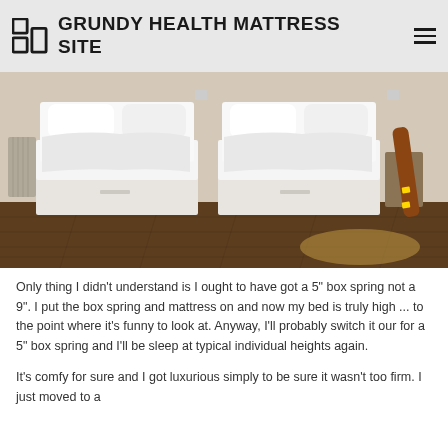GRUNDY HEALTH MATTRESS SITE
[Figure (photo): Two single beds with white mattresses and white bedding, sitting on white storage bed frames with drawers, on a dark hardwood floor. A skateboard leans against the wall on the right side. Room has beige/white walls.]
Only thing I didn't understand is I ought to have got a 5" box spring not a 9". I put the box spring and mattress on and now my bed is truly high ... to the point where it's funny to look at. Anyway, I'll probably switch it our for a 5" box spring and I'll be sleep at typical individual heights again.
It's comfy for sure and I got luxurious simply to be sure it wasn't too firm. I just moved to a